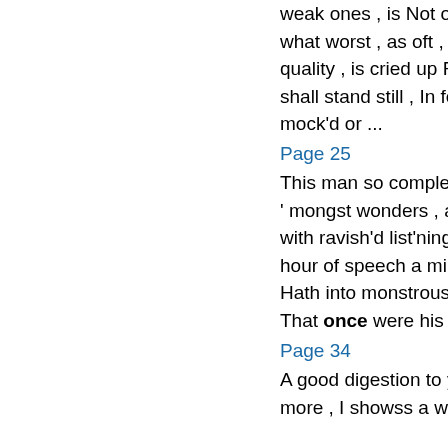weak ones , is Not ours , or not allow'd ; what worst , as oft , Hitting a grosser quality , is cried up For our best act . If we shall stand still , In fear our motion will be mock'd or ...
Page 25
This man so complete , Who was enroll d ' mongst wonders , and when we , Almost with ravish'd list'ning , could not find His hour of speech a minute ; he , my lady , Hath into monstrous habits put the graces That once were his , and is ...
Page 34
A good digestion to you all : and , once more , I showss a welcome an...